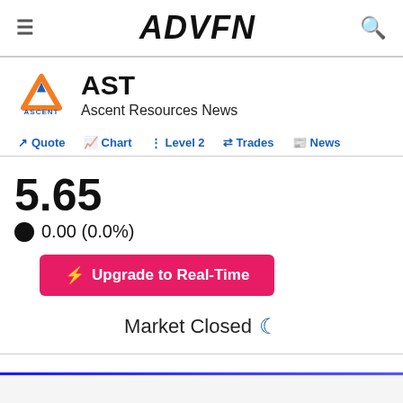ADVFN
AST
Ascent Resources News
Quote  Chart  Level 2  Trades  News
5.65
0.00 (0.0%)
Upgrade to Real-Time
Market Closed